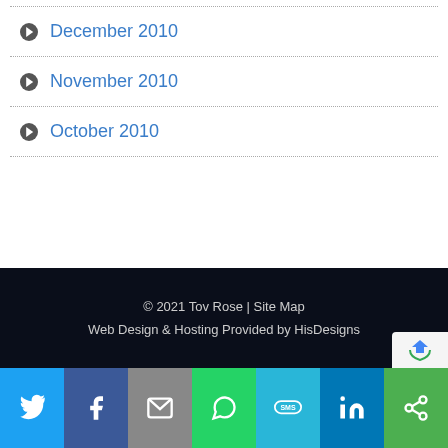December 2010
November 2010
October 2010
© 2021 Tov Rose | Site Map
Web Design & Hosting Provided by HisDesigns